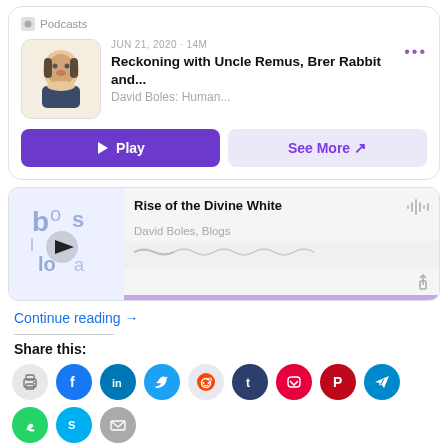[Figure (screenshot): Apple Podcasts card showing episode 'Reckoning with Uncle Remus, Brer Rabbit and...' by David Boles: Human..., JUN 21, 2020 · 14M, with Play and See More buttons]
[Figure (screenshot): Audio embed card showing 'Rise of the Divine White' by David Boles, Blogs with waveform and progress bar]
Continue reading →
Share this:
[Figure (infographic): Row of social share icons: print, facebook, linkedin, twitter, reddit, tumblr, pocket, pinterest, telegram]
[Figure (infographic): Second row of social share icons: whatsapp, skype, email]